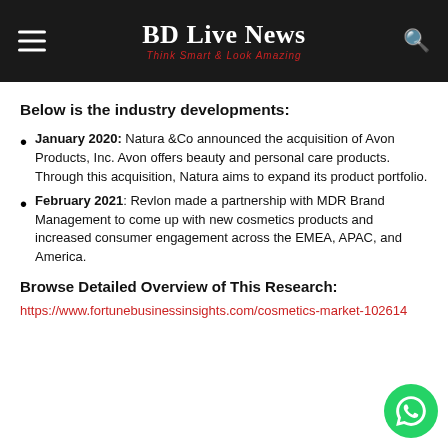BD Live News — Think Smart & Look Amazing
Below is the industry developments:
January 2020: Natura &Co announced the acquisition of Avon Products, Inc. Avon offers beauty and personal care products. Through this acquisition, Natura aims to expand its product portfolio.
February 2021: Revlon made a partnership with MDR Brand Management to come up with new cosmetics products and increased consumer engagement across the EMEA, APAC, and America.
Browse Detailed Overview of This Research:
https://www.fortunebusinessinsights.com/cosmetics-market-102614